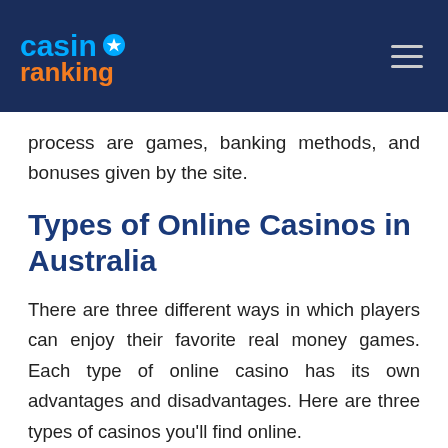casino ranking
process are games, banking methods, and bonuses given by the site.
Types of Online Casinos in Australia
There are three different ways in which players can enjoy their favorite real money games. Each type of online casino has its own advantages and disadvantages. Here are three types of casinos you'll find online.
Land-Based Casinos: These are brick-and-mortar casinos that you can